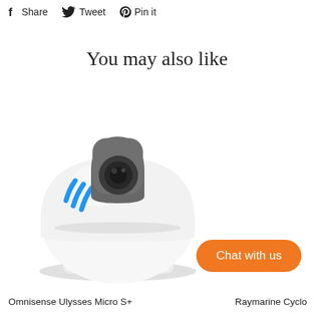Share  Tweet  Pin it
You may also like
[Figure (photo): Omnisense Ulysses Micro S+ camera — a white PTZ marine camera with a dark grey camera module on top and a blue logo on the side, mounted on a white rounded base]
Chat with us
Omnisense Ulysses Micro S+
Raymarine Cyclo